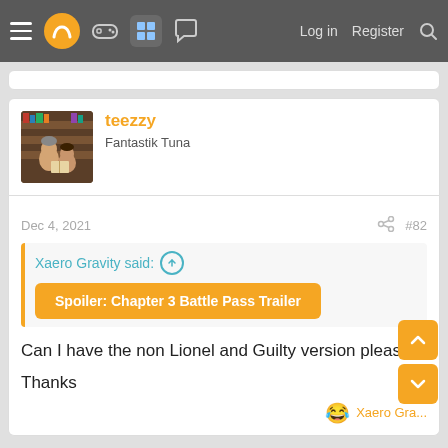≡ [logo] [gamepad] [grid] [chat] Log in Register [search]
[Figure (photo): Avatar photo of user teezzy showing two people reading a book in a library setting]
teezzy
Fantastik Tuna
Dec 4, 2021
#82
Xaero Gravity said: ↑
Spoiler: Chapter 3 Battle Pass Trailer
Can I have the non Lionel and Guilty version please?
Thanks
😂 Xaero Gra...